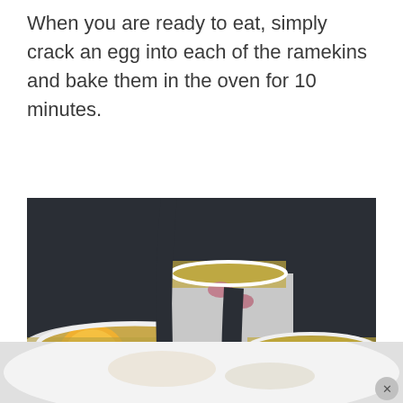When you are ready to eat, simply crack an egg into each of the ramekins and bake them in the oven for 10 minutes.
[Figure (photo): Close-up photo of multiple white ceramic ramekins filled with baked eggs, ham pieces, and cheese. One ramekin in the foreground shows an unbroken egg yolk. A partial fourth ramekin is visible at the bottom center. Background is dark.]
[Figure (photo): Bottom portion showing a blurred white surface, likely a plate or dish with some food. A gray circular close/dismiss button is visible in the bottom right corner.]